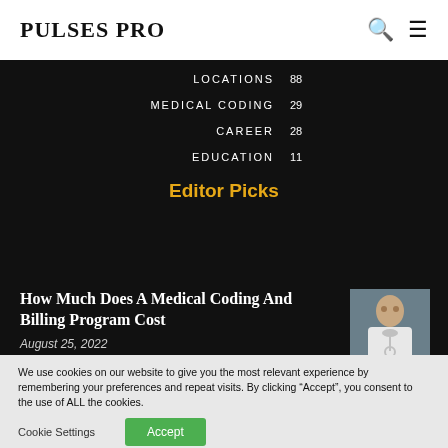PULSES PRO
LOCATIONS 88
MEDICAL CODING 29
CAREER 28
EDUCATION 11
Editor Picks
How Much Does A Medical Coding And Billing Program Cost
August 25, 2022
[Figure (photo): Medical professional in white coat with stethoscope]
We use cookies on our website to give you the most relevant experience by remembering your preferences and repeat visits. By clicking “Accept”, you consent to the use of ALL the cookies.
Do not sell my personal information.
Cookie Settings   Accept